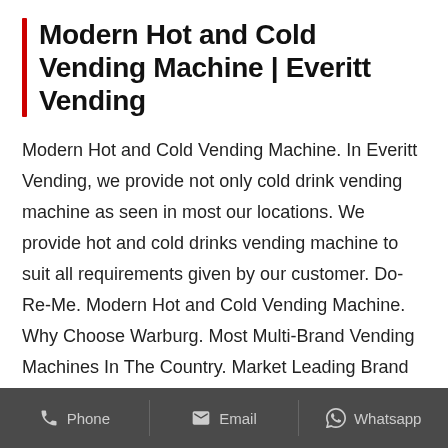Modern Hot and Cold Vending Machine | Everitt Vending
Modern Hot and Cold Vending Machine. In Everitt Vending, we provide not only cold drink vending machine as seen in most our locations. We provide hot and cold drinks vending machine to suit all requirements given by our customer. Do-Re-Me. Modern Hot and Cold Vending Machine. Why Choose Warburg. Most Multi-Brand Vending Machines In The Country. Market Leading Brand Offerings For Various Categories. More Than 20 Year Track Record In Vending Business. In-house Logistics and Maintenance Network. Large Operations Fleet Covering Singapore. The boxgreen healthy vending machine is Singapore's first one of a kind
Phone   Email   Whatsapp